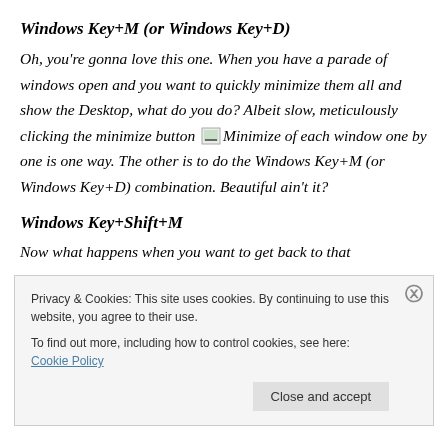Windows Key+M (or Windows Key+D)
Oh, you're gonna love this one. When you have a parade of windows open and you want to quickly minimize them all and show the Desktop, what do you do? Albeit slow, meticulously clicking the minimize button [Minimize icon] of each window one by one is one way. The other is to do the Windows Key+M (or Windows Key+D) combination. Beautiful ain't it?
Windows Key+Shift+M
Now what happens when you want to get back to that
Privacy & Cookies: This site uses cookies. By continuing to use this website, you agree to their use.
To find out more, including how to control cookies, see here: Cookie Policy